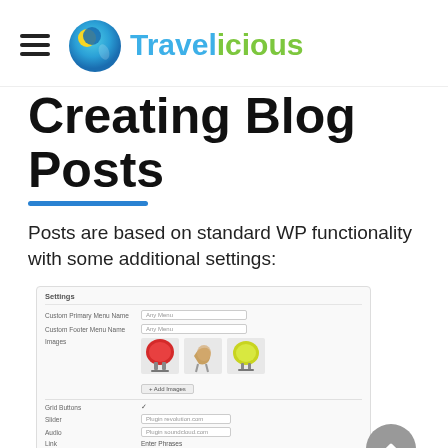[Figure (logo): Travelicious logo with globe icon and colorful text]
Creating Blog Posts
Posts are based on standard WP functionality with some additional settings:
[Figure (screenshot): WordPress settings panel showing menu settings and image upload section with three chair images]